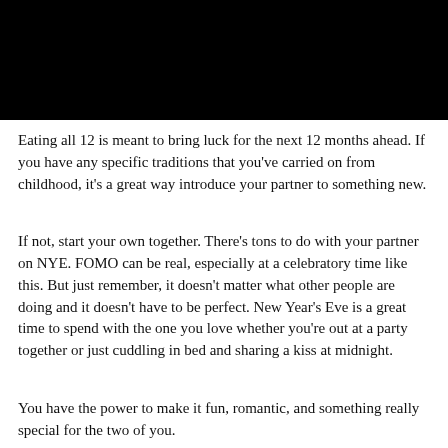[Figure (photo): Black rectangular image filling the top portion of the page]
Eating all 12 is meant to bring luck for the next 12 months ahead. If you have any specific traditions that you've carried on from childhood, it's a great way introduce your partner to something new.
If not, start your own together. There's tons to do with your partner on NYE. FOMO can be real, especially at a celebratory time like this. But just remember, it doesn't matter what other people are doing and it doesn't have to be perfect. New Year's Eve is a great time to spend with the one you love whether you're out at a party together or just cuddling in bed and sharing a kiss at midnight.
You have the power to make it fun, romantic, and something really special for the two of you.